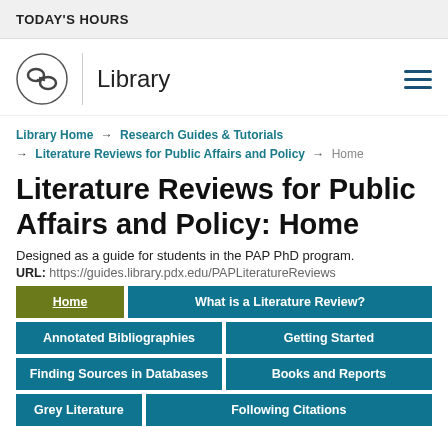TODAY'S HOURS
[Figure (logo): Portland State University Library logo with knotted chain icon and 'Library' text, plus hamburger menu icon]
Library Home → Research Guides & Tutorials → Literature Reviews for Public Affairs and Policy → Home
Literature Reviews for Public Affairs and Policy: Home
Designed as a guide for students in the PAP PhD program.
URL: https://guides.library.pdx.edu/PAPLiteratureReviews
Home
What is a Literature Review?
Annotated Bibliographies
Getting Started
Finding Sources in Databases
Books and Reports
Grey Literature
Following Citations